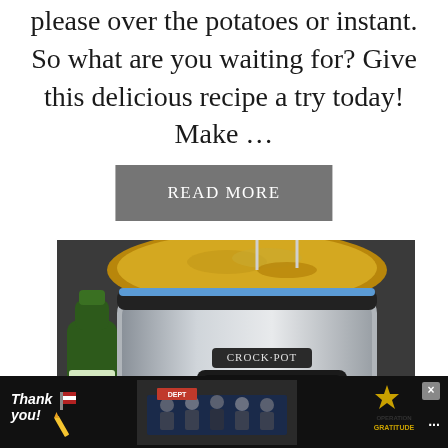please over the potatoes or instant. So what are you waiting for? Give this delicious recipe a try today!  Make …
[Figure (other): Gray rectangular READ MORE button]
[Figure (photo): A Crock-Pot slow cooker with food inside, a green glass bottle of sparkling beverage to the left, and a bun/sandwich at the bottom, on a red and white checkered cloth]
[Figure (other): Advertisement banner: Thank you with pencil and flag illustration on left, group of firefighters photo in center, Operation Gratitude logo on right, close X button, and menu dots on far right]